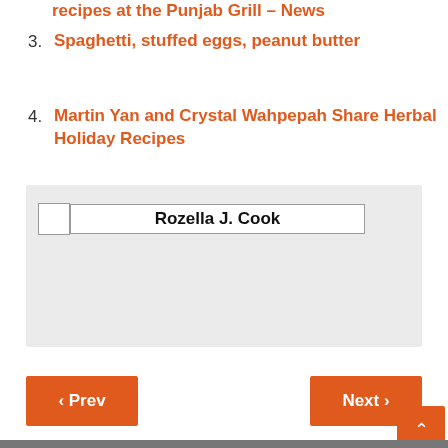3. recipes at the Punjab Grill – News
3. Spaghetti, stuffed eggs, peanut butter
4. Martin Yan and Crystal Wahpepah Share Herbal Holiday Recipes
[Figure (other): Author box with avatar placeholder and name field showing 'Rozella J. Cook']
< Prev
Next >
[Figure (photo): Partial image visible at bottom of page]